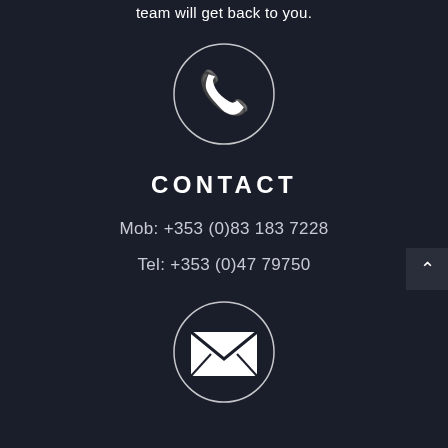team will get back to you.
[Figure (illustration): White phone handset icon inside a thin white circle on dark background]
CONTACT
Mob: +353 (0)83 183 7228
Tel: +353 (0)47 79750
[Figure (illustration): White envelope/email icon inside a thin white circle on dark background]